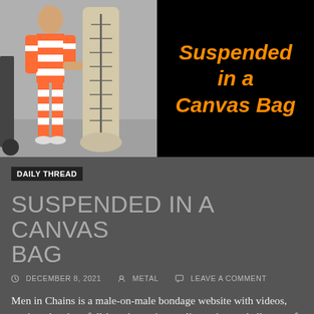[Figure (photo): Left half: photo of a man in orange-and-white striped prison jumpsuit standing next to a suspended canvas bag restraint device. Right half: black background with orange italic bold text reading 'Suspended in a Canvas Bag'.]
DAILY THREAD
SUSPENDED IN A CANVAS BAG
DECEMBER 8, 2021   METAL   LEAVE A COMMENT
Men in Chains is a male-on-male bondage website with videos, stories, sketches, full-length movies, reality series, and all sorts of other hot physical restraint. Today's new VIDEO is called